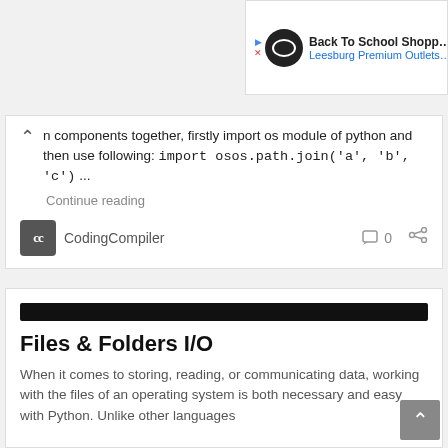[Figure (screenshot): Ad banner for Back To School Shopping at Leesburg Premium Outlets with logo icon]
n components together, firstly import os module of python and then use following: import osos.path.join('a', 'b', 'c') ...
Continue reading
CodingCompiler
Files & Folders I/O
When it comes to storing, reading, or communicating data, working with the files of an operating system is both necessary and easy with Python. Unlike other languages